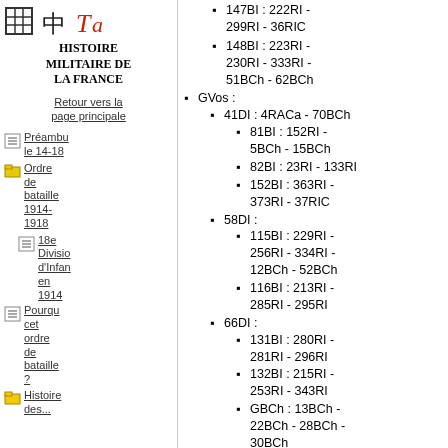[Figure (logo): Website logo with grid symbol, kanji character, and stylized red 'Ta' text]
Histoire militaire de la France
Retour vers la page principale
Préambule 14-18
Ordre de bataille 1914-1918
18e Division d'Infanterie en 1914
Pourquoi cet ordre de bataille ?
Histoire des...
147BI : 222RI - 299RI - 36RIC
148BI : 223RI - 230RI - 333RI - 51BCh - 62BCh
GVos :
41DI : 4RACa - 70BCh
81BI : 152RI - 5BCh - 15BCh
82BI : 23RI - 133RI
152BI : 363RI - 373RI - 37RIC
58DI :
115BI : 229RI - 256RI - 334RI - 12BCh - 52BCh
116BI : 213RI - 285RI - 295RI
66DI :
131BI : 280RI - 281RI - 296RI
132BI : 215RI - 253RI - 343RI
GBCh : 13BCh - 22BCh - 28BCh - 30BCh
64DI :
127BI : 275RI - 340RI -